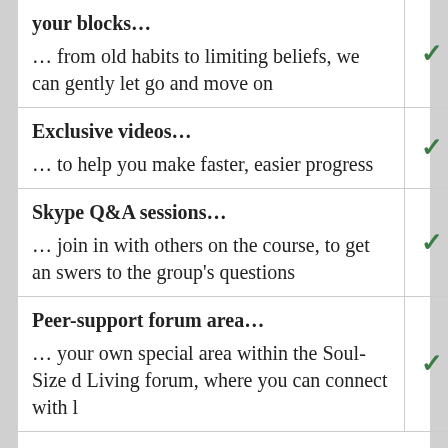| Feature | Included |
| --- | --- |
| your blocks… … from old habits to limiting beliefs, we can gently let go and move on | ✓ |
| Exclusive videos… … to help you make faster, easier progress | ✓ |
| Skype Q&A sessions… … join in with others on the course, to get answers to the group's questions | ✓ |
| Peer-support forum area… … your own special area within the Soul-Sized Living forum, where you can connect with l | ✓ |